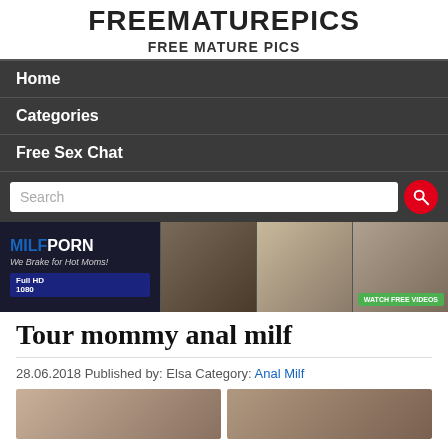FREEMATUREPICS - FREE MATURE PICS
Home
Categories
Free Sex Chat
[Figure (screenshot): Search bar with red circle search button]
[Figure (photo): MILFPORN advertisement banner - We Brake for Hot Moms! with WATCH FREE VIDEOS button]
Tour mommy anal milf
28.06.2018 Published by: Elsa Category: Anal Milf
[Figure (photo): Two thumbnail images at bottom of page]